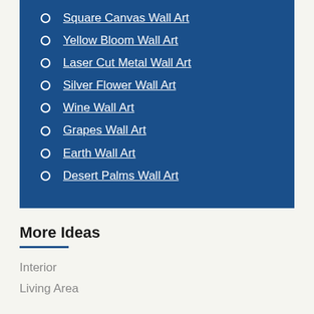Square Canvas Wall Art
Yellow Bloom Wall Art
Laser Cut Metal Wall Art
Silver Flower Wall Art
Wine Wall Art
Grapes Wall Art
Earth Wall Art
Desert Palms Wall Art
More Ideas
Interior
Living Area